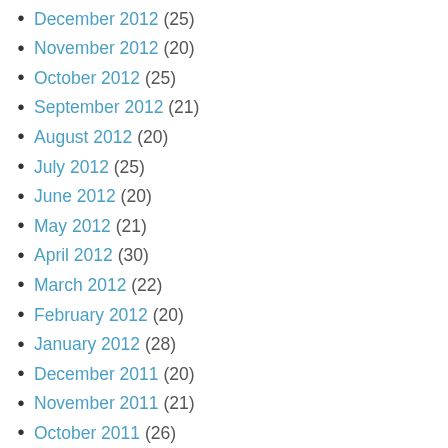December 2012 (25)
November 2012 (20)
October 2012 (25)
September 2012 (21)
August 2012 (20)
July 2012 (25)
June 2012 (20)
May 2012 (21)
April 2012 (30)
March 2012 (22)
February 2012 (20)
January 2012 (28)
December 2011 (20)
November 2011 (21)
October 2011 (26)
September 2011 (20)
August 2011 (25)
July 2011 (20)
June 2011 (21)
May 2011 (26)
April 2011 (20)
March 2011 (21)